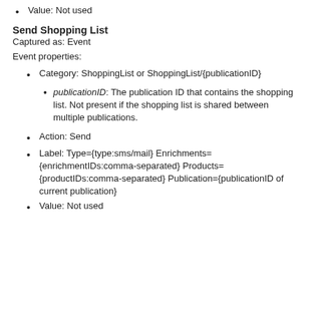Value: Not used
Send Shopping List
Captured as: Event
Event properties:
Category: ShoppingList or ShoppingList/{publicationID}
publicationID: The publication ID that contains the shopping list. Not present if the shopping list is shared between multiple publications.
Action: Send
Label: Type={type:sms/mail} Enrichments={enrichmentIDs:comma-separated} Products={productIDs:comma-separated} Publication={publicationID of current publication}
Value: Not used